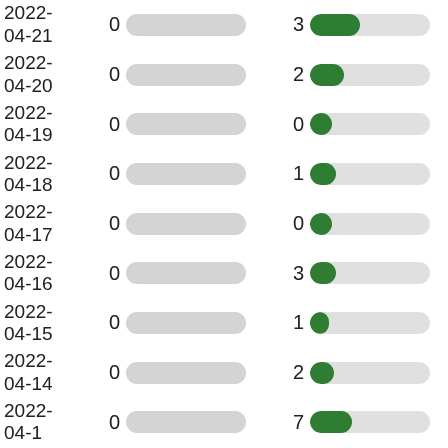[Figure (bar-chart): Date vs counts (two columns)]